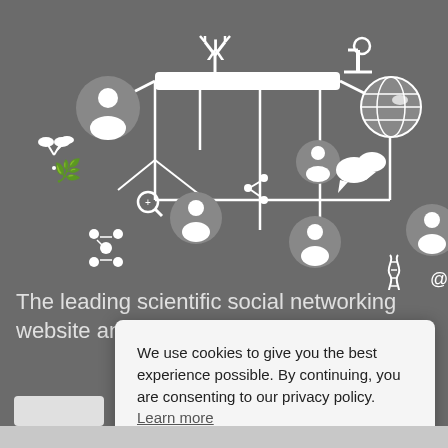[Figure (illustration): Scientific social networking graphic with white icons on grey background: people silhouettes connected by lines, science icons including microscope, DNA helix, antibody, globe, heart, brain, molecules, chat bubbles, barcode, binoculars, beakers, and other scientific symbols arranged in a network pattern]
The leading scientific social networking website and...
We use cookies to give you the best experience possible. By continuing, you are consenting to our privacy policy. Learn more
Got it!